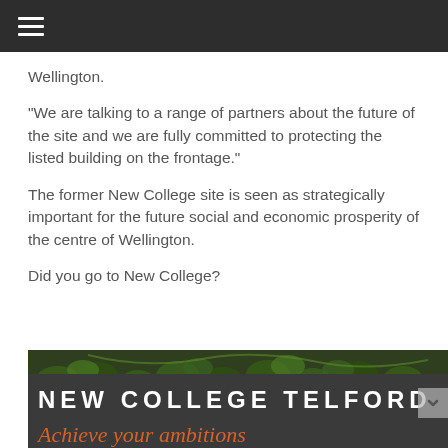≡ (hamburger menu)
Wellington.
“We are talking to a range of partners about the future of the site and we are fully committed to protecting the listed building on the frontage.”
The former New College site is seen as strategically important for the future social and economic prosperity of the centre of Wellington.
Did you go to New College?
[Figure (photo): Photo of New College Telford signage with white lettering on dark background reading 'NEW COLLEGE TELFORD' and orange italic text 'Achieve your ambitions' below, with green foliage visible at the top.]